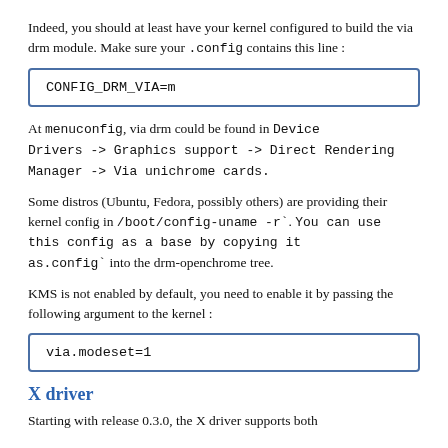Indeed, you should at least have your kernel configured to build the via drm module. Make sure your .config contains this line :
CONFIG_DRM_VIA=m
At menuconfig, via drm could be found in Device Drivers -> Graphics support -> Direct Rendering Manager -> Via unichrome cards.
Some distros (Ubuntu, Fedora, possibly others) are providing their kernel config in /boot/config-uname -r`. You can use this config as a base by copying it as.config` into the drm-openchrome tree.
KMS is not enabled by default, you need to enable it by passing the following argument to the kernel :
via.modeset=1
X driver
Starting with release 0.3.0, the X driver supports both